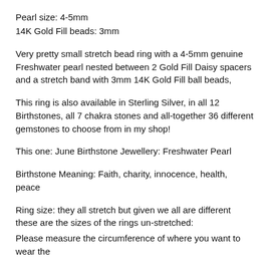Pearl size: 4-5mm
14K Gold Fill beads: 3mm
Very pretty small stretch bead ring with a 4-5mm genuine Freshwater pearl nested between 2 Gold Fill Daisy spacers and a stretch band with 3mm 14K Gold Fill ball beads,
This ring is also available in Sterling Silver, in all 12 Birthstones, all 7 chakra stones and all-together 36 different gemstones to choose from in my shop!
This one: June Birthstone Jewellery: Freshwater Pearl
Birthstone Meaning: Faith, charity, innocence, health, peace
Ring size: they all stretch but given we all are different these are the sizes of the rings un-stretched:
Please measure the circumference of where you want to wear the